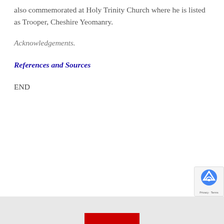also commemorated at Holy Trinity Church where he is listed as Trooper, Cheshire Yeomanry.
Acknowledgements.
References and Sources
END